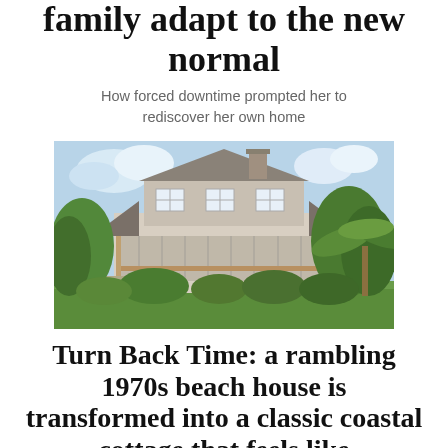family adapt to the new normal
How forced downtime prompted her to rediscover her own home
[Figure (photo): Exterior photo of a large 1970s beach house with a wide screened porch, wood railing, chimney, surrounded by lush greenery including palm trees and shrubs, under a partly cloudy sky.]
Turn Back Time: a rambling 1970s beach house is transformed into a classic coastal cottage that feels like